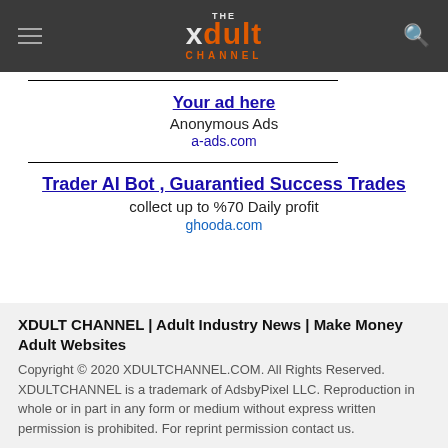THE xdult CHANNEL
Your ad here
Anonymous Ads
a-ads.com
Trader AI Bot , Guarantied Success Trades
collect up to %70 Daily profit
ghooda.com
XDULT CHANNEL | Adult Industry News | Make Money Adult Websites
Copyright © 2020 XDULTCHANNEL.COM. All Rights Reserved. XDULTCHANNEL is a trademark of AdsbyPixel LLC. Reproduction in whole or in part in any form or medium without express written permission is prohibited. For reprint permission contact us.